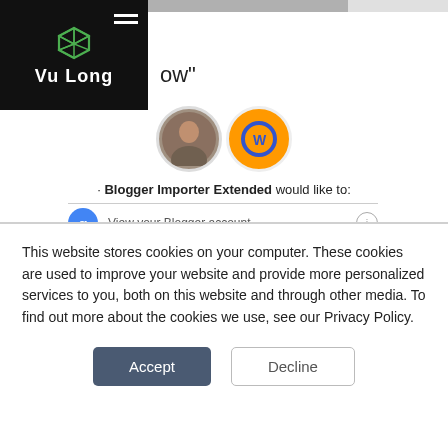[Figure (screenshot): Vu Long website logo on black background with hamburger menu icon, showing a green cube icon and 'Vu Long' text in white]
6.      ow"
[Figure (illustration): Two circular avatars side by side: a person photo and an orange Blogger/WordPress service icon]
· Blogger Importer Extended would like to:
View your Blogger account
By clicking Allow, you allow this app and Google to use your information in accordance with their respective terms of service and privacy policies. You can change this and other Account Permissions at any time.
This website stores cookies on your computer. These cookies are used to improve your website and provide more personalized services to you, both on this website and through other media. To find out more about the cookies we use, see our Privacy Policy.
Accept
Decline